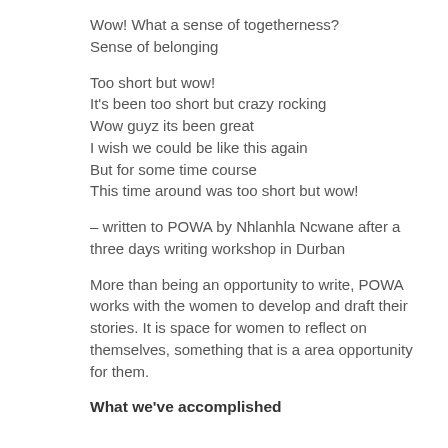Wow! What a sense of togetherness?
Sense of belonging
Too short but wow!
It's been too short but crazy rocking
Wow guyz its been great
I wish we could be like this again
But for some time course
This time around was too short but wow!
– written to POWA by Nhlanhla Ncwane after a three days writing workshop in Durban
More than being an opportunity to write, POWA works with the women to develop and draft their stories. It is space for women to reflect on themselves, something that is a area opportunity for them.
What we've accomplished